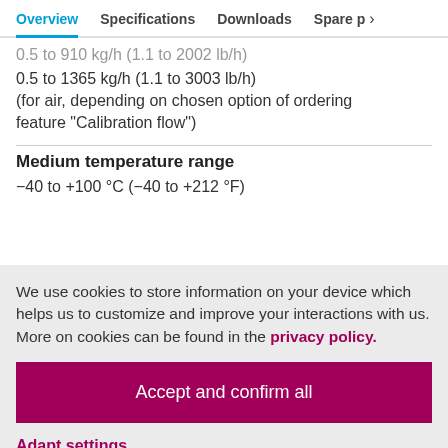Overview | Specifications | Downloads | Spare p >
0.5 to 910 kg/h (1.1 to 2002 lb/h)
0.5 to 1365 kg/h (1.1 to 3003 lb/h)
(for air, depending on chosen option of ordering feature "Calibration flow")
Medium temperature range
−40 to +100 °C (−40 to +212 °F)
We use cookies to store information on your device which helps us to customize and improve your interactions with us. More on cookies can be found in the privacy policy.
Accept and confirm all
Adapt settings